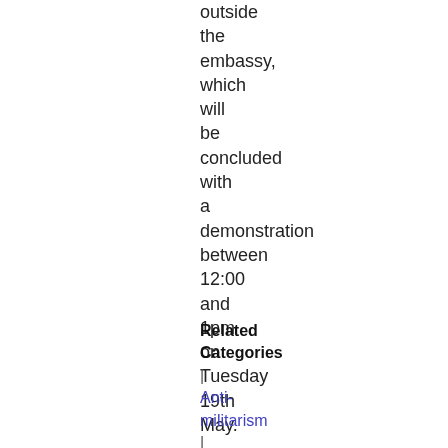outside the embassy, which will be concluded with a demonstration between 12:00 and 1pm on Tuesday 19th May.
Related Categories
| Anti-militarism
| Repression
| Social Struggles
| World